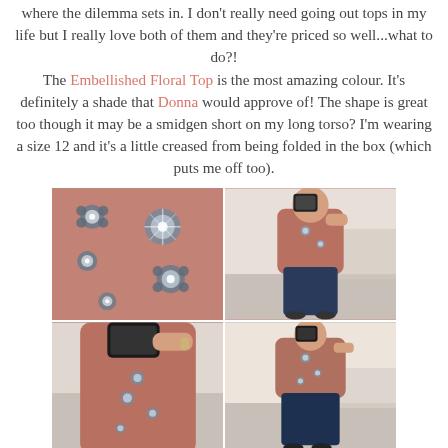where the dilemma sets in. I don't really need going out tops in my life but I really love both of them and they're priced so well...what to do?! The Embellished Floral Top is the most amazing colour. It's definitely a shade that Donna would approve of! The shape is great too though it may be a smidgen short on my long torso? I'm wearing a size 12 and it's a little creased from being folded in the box (which puts me off too).
[Figure (photo): Four photos of a pink/mauve embellished floral top with jewelled flower decorations. Top-left: close-up of the floral embellishments. Top-right: full-length mirror selfie showing the top with dark jeans. Bottom-left: closer mirror selfie of the top. Bottom-right: another full-length mirror selfie of the outfit.]